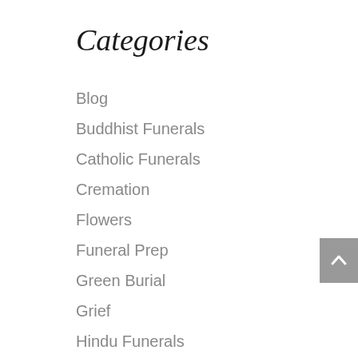Categories
Blog
Buddhist Funerals
Catholic Funerals
Cremation
Flowers
Funeral Prep
Green Burial
Grief
Hindu Funerals
Jewish Funerals
News
Podcast